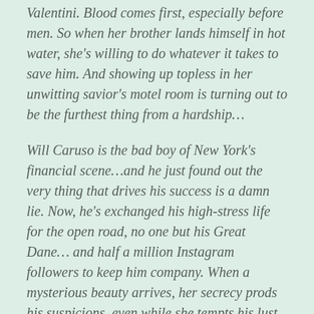Valentini. Blood comes first, especially before men. So when her brother lands himself in hot water, she's willing to do whatever it takes to save him. And showing up topless in her unwitting savior's motel room is turning out to be the furthest thing from a hardship…
Will Caruso is the bad boy of New York's financial scene…and he just found out the very thing that drives his success is a damn lie. Now, he's exchanged his high-stress life for the open road, no one but his Great Dane… and half a million Instagram followers to keep him company. When a mysterious beauty arrives, her secrecy prods his suspicions, even while she tempts his lust to the breaking point.
Teresa met Will under false pretenses, but the bond consuming them is real. They're strong enough to